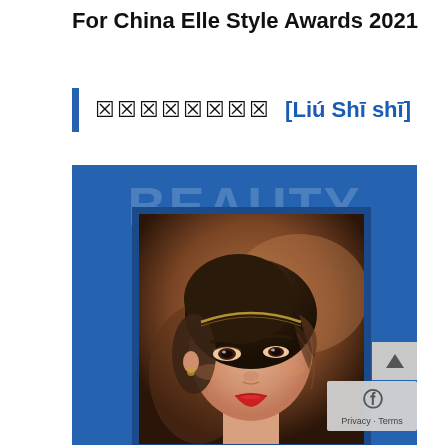For China Elle Style Awards 2021
刘诗诗  [Liú Shī shī]
[Figure (photo): Photo of Liu Shishi on a blue background with large watermark text 'BEAUTY' and 'CHINESE'. Portrait of a young Asian woman with a hair band, warm brown tones, framed with a dark blue border.]